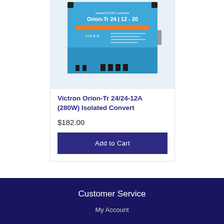[Figure (photo): Victron Orion-Tr 24/12-20 isolated DC/DC converter device photo — blue unit with orange stripe and terminal connectors visible at bottom]
Victron Orion-Tr 24/24-12A (280W) Isolated Convert
$182.00
Add to Cart
Customer Service
My Account